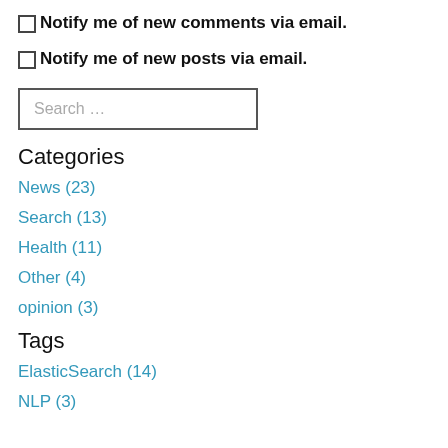Notify me of new comments via email.
Notify me of new posts via email.
Categories
News (23)
Search (13)
Health (11)
Other (4)
opinion (3)
Tags
ElasticSearch (14)
NLP (3)